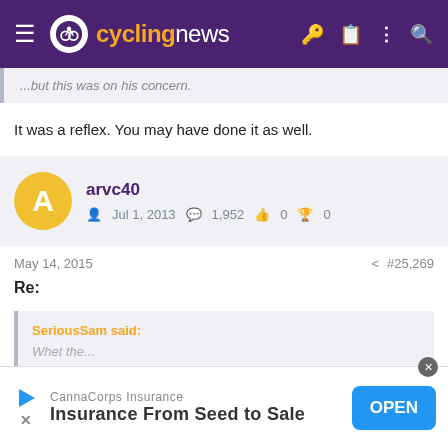cyclingnews
...but this was on his concern.
It was a reflex. You may have done it as well.
arvc40
Jul 1, 2013  1,952  0  0
May 14, 2015  #25,269
Re:
SeriousSam said:
Whet the...
CannaCorps Insurance
Insurance From Seed to Sale
OPEN